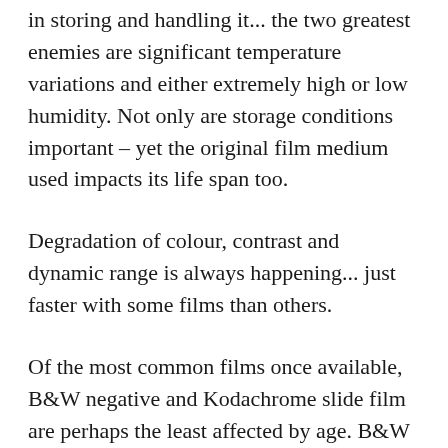in storing and handling it... the two greatest enemies are significant temperature variations and either extremely high or low humidity. Not only are storage conditions important – yet the original film medium used impacts its life span too.
Degradation of colour, contrast and dynamic range is always happening... just faster with some films than others.
Of the most common films once available, B&W negative and Kodachrome slide film are perhaps the least affected by age. B&W film is basically silver crystals on an emulsion and as historical photos will prove, if developed and stored properly they may last decades. Kodachrome slide film had an additive-type film emulsion